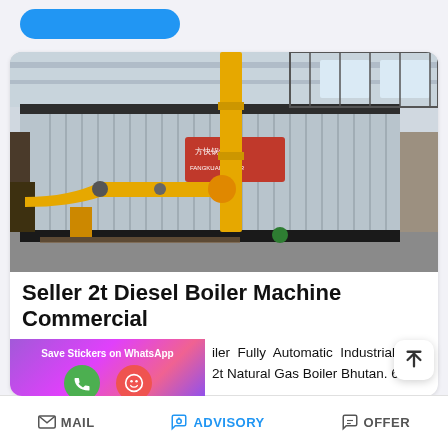[Figure (photo): Industrial boiler machine with corrugated metal casing and yellow gas pipes in a factory/warehouse setting. Chinese branding visible on the unit.]
Seller 2t Diesel Boiler Machine Commercial
iler Fully Automatic Industrial 2t Natural Gas Boiler Bhutan. 6T 1
MAIL   ADVISORY   OFFER